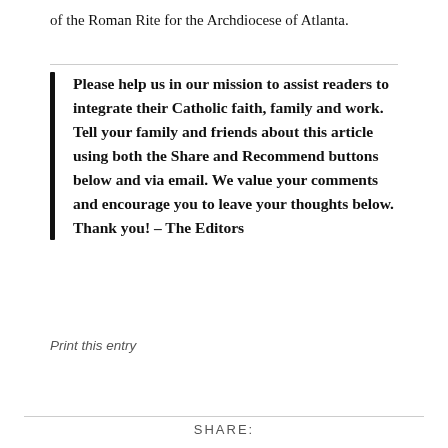of the Roman Rite for the Archdiocese of Atlanta.
Please help us in our mission to assist readers to integrate their Catholic faith, family and work. Tell your family and friends about this article using both the Share and Recommend buttons below and via email. We value your comments and encourage you to leave your thoughts below. Thank you! – The Editors
Print this entry
SHARE: